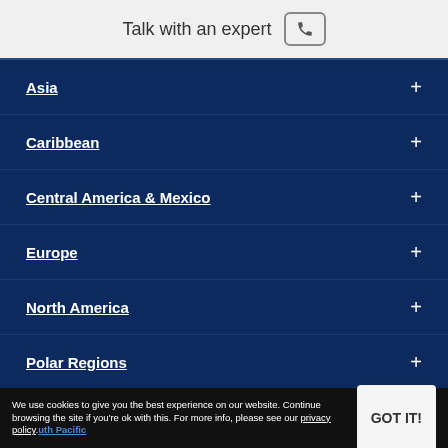Talk with an expert
Asia +
Caribbean +
Central America & Mexico +
Europe +
North America +
Polar Regions +
We use cookies to give you the best experience on our website. Continue browsing the site if you're ok with this. For more info, please see our privacy policy.